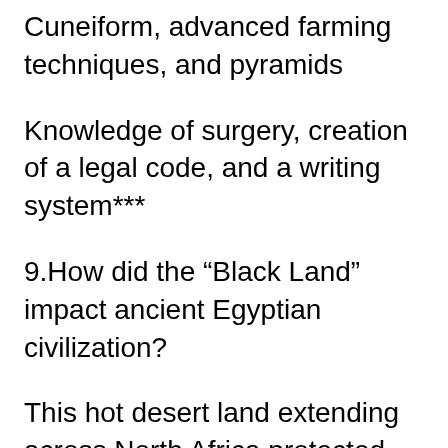Cuneiform, advanced farming techniques, and pyramids
Knowledge of surgery, creation of a legal code, and a writing system***
9.How did the “Black Land” impact ancient Egyptian civilization?
This hot desert land extending across North Africa protected Egypt’s Mediterranean shore.
This irrigated farmland located by the Nile provided fertile soil to grow wheat and flax